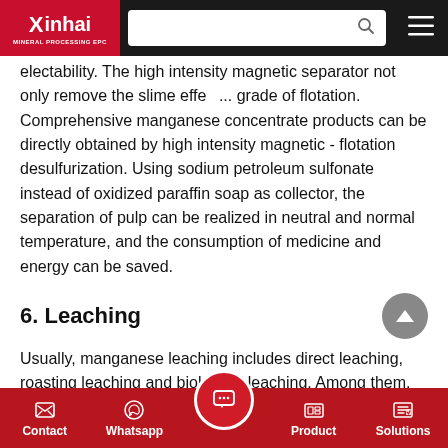Xinhai MINERAL PROCESSING EPC [navigation bar with search]
electability. The high intensity magnetic separator not only remove the slime effect... grade of flotation. Comprehensive manganese concentrate products can be directly obtained by high intensity magnetic - flotation desulfurization. Using sodium petroleum sulfonate instead of oxidized paraffin soap as collector, the separation of pulp can be realized in neutral and normal temperature, and the consumption of medicine and energy can be saved.
6. Leaching
Usually, manganese leaching includes direct leaching, roasting leaching and biological leaching. Among them, the direct leaching method also includes disulphate method, sulfur dioxide method, ferrous sulfate method and so on.
Take the so2 leaching method as example, the manganese ore
Contact   Whatsapp   [Chat]   Product   Solutions